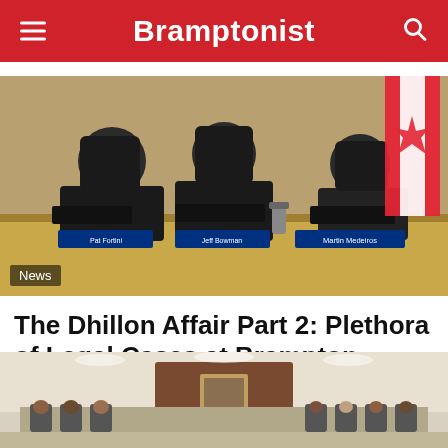Bramptonist
[Figure (photo): Three men seated at a council chamber dais with nameplates reading Pat Fortini, Jeff Bowman, and Martin Medeiros. A Canadian flag is visible in the background.]
News
The Dhillon Affair Part 2: Plethora of Legal Cases at Brampton
[Figure (photo): Partial view of a council chamber from the back, showing a speaker's podium and rows of chairs with people seated.]